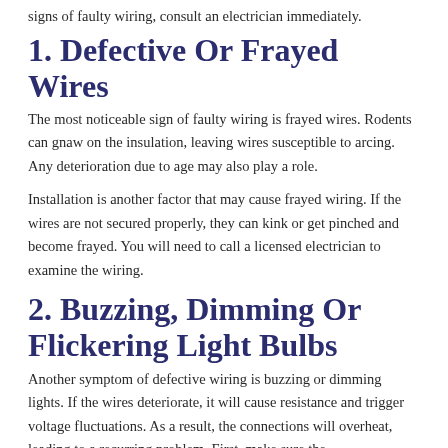signs of faulty wiring, consult an electrician immediately.
1. Defective Or Frayed Wires
The most noticeable sign of faulty wiring is frayed wires. Rodents can gnaw on the insulation, leaving wires susceptible to arcing. Any deterioration due to age may also play a role.
Installation is another factor that may cause frayed wiring. If the wires are not secured properly, they can kink or get pinched and become frayed. You will need to call a licensed electrician to examine the wiring.
2. Buzzing, Dimming Or Flickering Light Bulbs
Another symptom of defective wiring is buzzing or dimming lights. If the wires deteriorate, it will cause resistance and trigger voltage fluctuations. As a result, the connections will overheat, leading to a recurring problem. First, make sure the